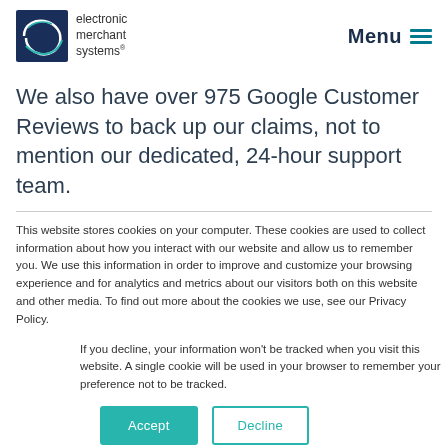electronic merchant systems | Menu
We also have over 975 Google Customer Reviews to back up our claims, not to mention our dedicated, 24-hour support team.
This website stores cookies on your computer. These cookies are used to collect information about how you interact with our website and allow us to remember you. We use this information in order to improve and customize your browsing experience and for analytics and metrics about our visitors both on this website and other media. To find out more about the cookies we use, see our Privacy Policy.
If you decline, your information won't be tracked when you visit this website. A single cookie will be used in your browser to remember your preference not to be tracked.
Accept | Decline